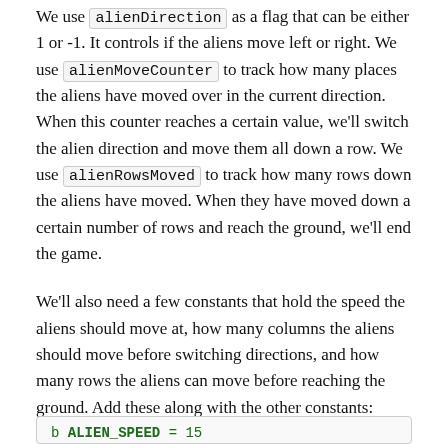We use alienDirection as a flag that can be either 1 or -1. It controls if the aliens move left or right. We use alienMoveCounter to track how many places the aliens have moved over in the current direction. When this counter reaches a certain value, we'll switch the alien direction and move them all down a row. We use alienRowsMoved to track how many rows down the aliens have moved. When they have moved down a certain number of rows and reach the ground, we'll end the game.
We'll also need a few constants that hold the speed the aliens should move at, how many columns the aliens should move before switching directions, and how many rows the aliens can move before reaching the ground. Add these along with the other constants:
b ALIEN_SPEED = 15